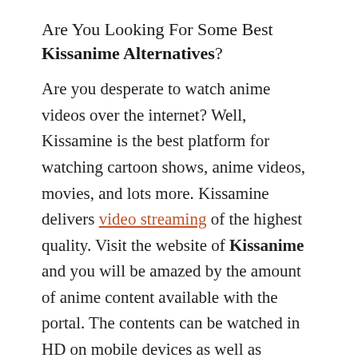Are You Looking For Some Best Kissanime Alternatives?
Are you desperate to watch anime videos over the internet? Well, Kissamine is the best platform for watching cartoon shows, anime videos, movies, and lots more. Kissamine delivers video streaming of the highest quality. Visit the website of Kissanime and you will be amazed by the amount of anime content available with the portal. The contents can be watched in HD on mobile devices as well as personal computers.
Also Read : Best Kisscartoon